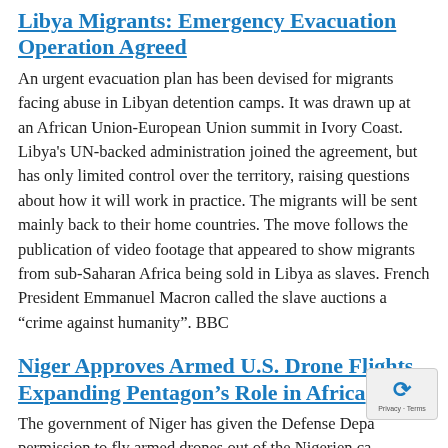Libya Migrants: Emergency Evacuation Operation Agreed
An urgent evacuation plan has been devised for migrants facing abuse in Libyan detention camps. It was drawn up at an African Union-European Union summit in Ivory Coast. Libya's UN-backed administration joined the agreement, but has only limited control over the territory, raising questions about how it will work in practice. The migrants will be sent mainly back to their home countries. The move follows the publication of video footage that appeared to show migrants from sub-Saharan Africa being sold in Libya as slaves. French President Emmanuel Macron called the slave auctions a “crime against humanity”. BBC
Niger Approves Armed U.S. Drone Flights, Expanding Pentagon’s Role in Africa
The government of Niger has given the Defense Department permission to fly armed drones out of the Nigerien capital Niamey, Pentagon officials said Thursday, in a major expansion of the American military’s footprint in Africa.